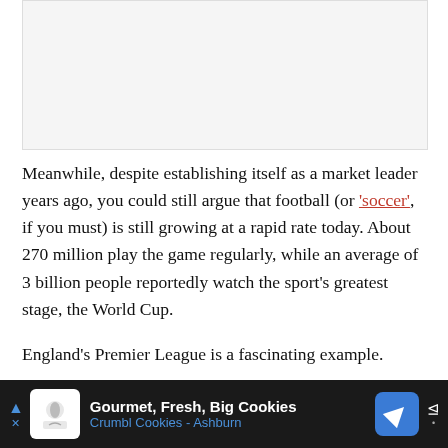[Figure (other): Image placeholder area at top of page]
Meanwhile, despite establishing itself as a market leader years ago, you could still argue that football (or 'soccer', if you must) is still growing at a rapid rate today. About 270 million play the game regularly, while an average of 3 billion people reportedly watch the sport's greatest stage, the World Cup.
England's Premier League is a fascinating example.
It... (continues below ad) ...co... ...led.
[Figure (other): Advertisement bar at bottom: Gourmet, Fresh, Big Cookies - Crumbl Cookies - Ashburn]